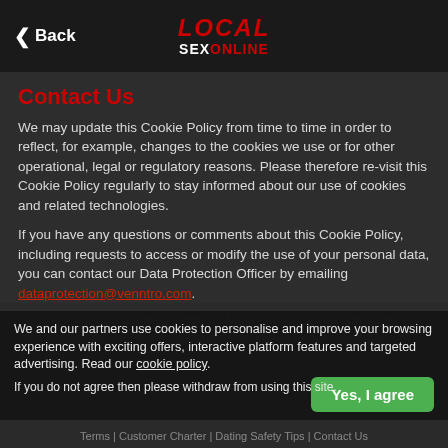Back | LOCAL SEX ONLINE
Contact Us
We may update this Cookie Policy from time to time in order to reflect, for example, changes to the cookies we use or for other operational, legal or regulatory reasons. Please therefore re-visit this Cookie Policy regularly to stay informed about our use of cookies and related technologies.
If you have any questions or comments about this Cookie Policy, including requests to access or modify the use of your personal data, you can contact our Data Protection Officer by emailing dataprotection@venntro.com.
For other general queries, Venntro Media Group can be contacted via the contact section on the Website or by writing to our registered address.
We and our partners use cookies to personalise and improve your browsing experience with exciting offers, interactive platform features and targeted advertising. Read our cookie policy. If you do not agree then please withdraw from using this site.
Terms | Customer Charter | Dating Safety Tips | Contact Us